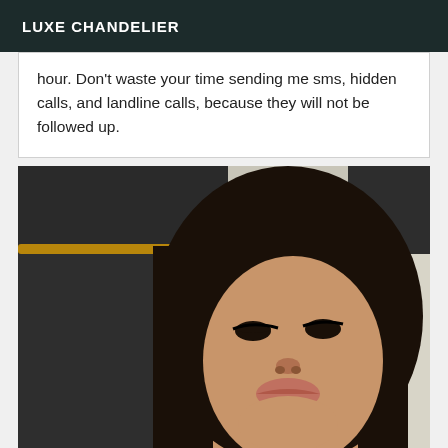LUXE CHANDELIER
hour. Don't waste your time sending me sms, hidden calls, and landline calls, because they will not be followed up.
[Figure (photo): A young woman with long dark hair taking a selfie, slightly tilted head, heavy eye makeup, pouting lips. Background shows dark curtains on a curtain rod and a light-colored wall.]